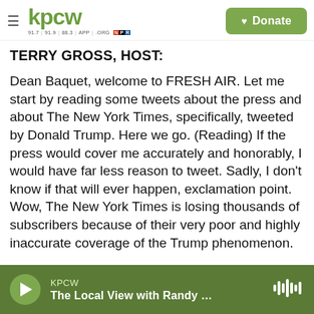KPCW — 91.7 | 91.9 | 88.3 | APP | .ORG — Donate
TERRY GROSS, HOST:
Dean Baquet, welcome to FRESH AIR. Let me start by reading some tweets about the press and about The New York Times, specifically, tweeted by Donald Trump. Here we go. (Reading) If the press would cover me accurately and honorably, I would have far less reason to tweet. Sadly, I don't know if that will ever happen, exclamation point. Wow, The New York Times is losing thousands of subscribers because of their very poor and highly inaccurate coverage of the Trump phenomenon.
KPCW — The Local View with Randy …